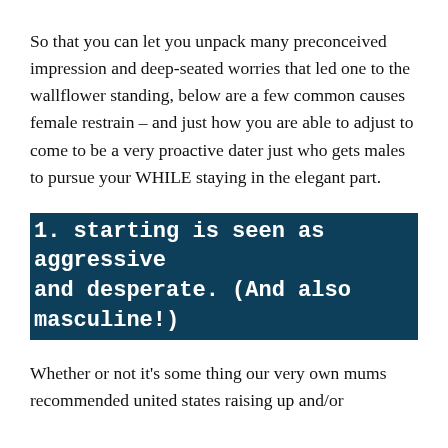So that you can let you unpack many preconceived impression and deep-seated worries that led one to the wallflower standing, below are a few common causes female restrain – and just how you are able to adjust to come to be a very proactive dater just who gets males to pursue your WHILE staying in the elegant part.
1. starting is seen as aggressive and desperate. (And also masculine!)
Whether or not it's some thing our very own mums recommended united states raising up and/or undeniable fact that females initiating was the d...